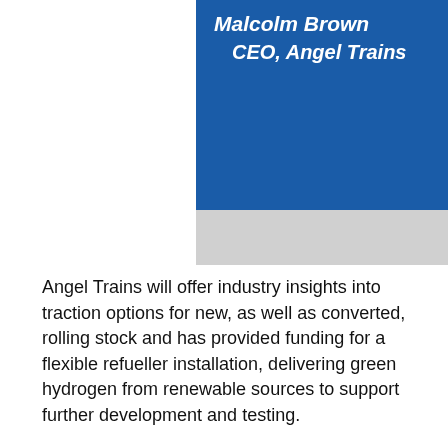Malcolm Brown
CEO, Angel Trains
Angel Trains will offer industry insights into traction options for new, as well as converted, rolling stock and has provided funding for a flexible refueller installation, delivering green hydrogen from renewable sources to support further development and testing.
Matthew Labuda, Head of Angel Trains Customer Service, North said: “We are thrilled to be involved in this pioneering project for Scotland - it’s an exciting opportunity for us to work with our industry partners and support Scottish innovation. At a time when the World’s focus will be on COP26 in Glasgow, the new Scottish Hydrogen Train will bring cutting-edge technologies to life